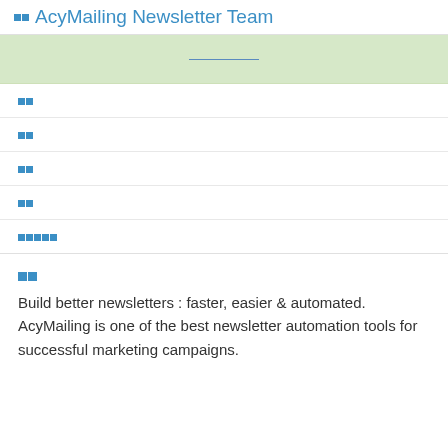□□AcyMailing Newsletter Team
[Figure (other): Green banner with a horizontal line in the center]
□□
□□
□□
□□
□□□□□
□□
Build better newsletters : faster, easier & automated. AcyMailing is one of the best newsletter automation tools for successful marketing campaigns.